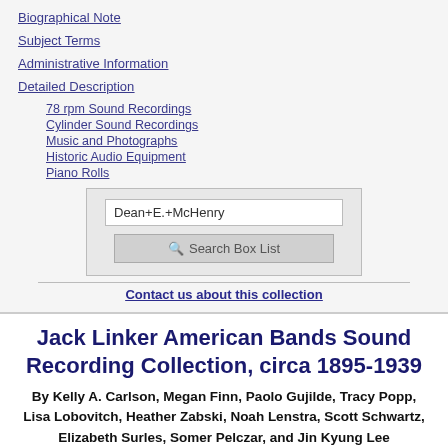Biographical Note
Subject Terms
Administrative Information
Detailed Description
78 rpm Sound Recordings
Cylinder Sound Recordings
Music and Photographs
Historic Audio Equipment
Piano Rolls
[Figure (screenshot): Search box with text 'Dean+E.+McHenry' and a 'Search Box List' button]
Contact us about this collection
Jack Linker American Bands Sound Recording Collection, circa 1895-1939
By Kelly A. Carlson, Megan Finn, Paolo Gujilde, Tracy Popp, Lisa Lobovitch, Heather Zabski, Noah Lenstra, Scott Schwartz, Elizabeth Surles, Somer Pelczar, and Jin Kyung Lee